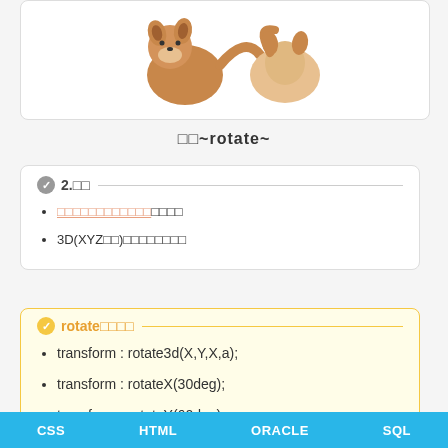[Figure (illustration): Cartoon Shiba Inu dog illustration with brown and white coloring on a white card background]
□□~rotate~
2.□□
□□□□□□□□□□□□□□□□
3D(XYZ□□)□□□□□□□□
rotate□□□□
transform : rotate3d(X,Y,X,a);
transform : rotateX(30deg);
transform : rotateY(60deg);
CSS   HTML   ORACLE   SQL